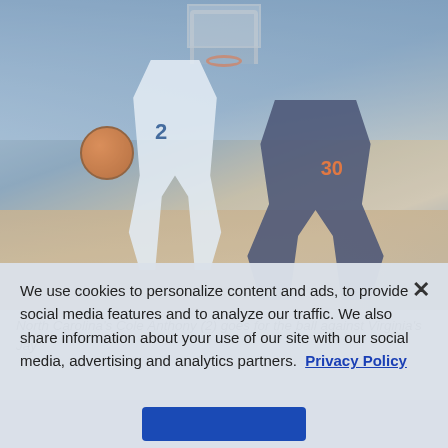[Figure (photo): Basketball game photo: North Carolina player #2 Cole Anthony in white uniform dribbling the ball against Virginia player #30 Jay Huff in dark navy uniform. Arena crowd visible in background.]
North Carolina's Cole Anthony (2) goes for the ball against Virginia's Jay
We use cookies to personalize content and ads, to provide social media features and to analyze our traffic. We also share information about your use of our site with our social media, advertising and analytics partners. Privacy Policy